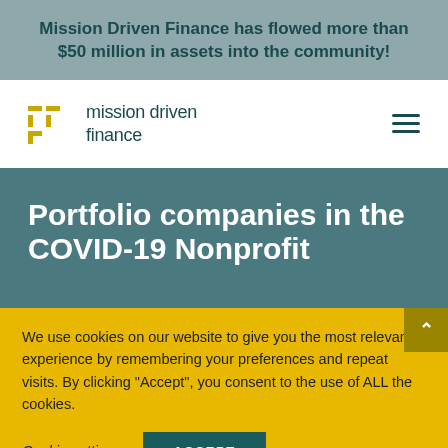Mission Driven Finance has flowed more than $50 million in assets into the community!
[Figure (logo): Mission Driven Finance logo with golden bracket icon and teal text]
Portfolio companies in the COVID-19 Nonprofit
We use cookies on our website to give you the most relevant experience by remembering your preferences and repeat visits. By clicking "Accept", you consent to the use of ALL the cookies.
Cookie settings   ACCEPT